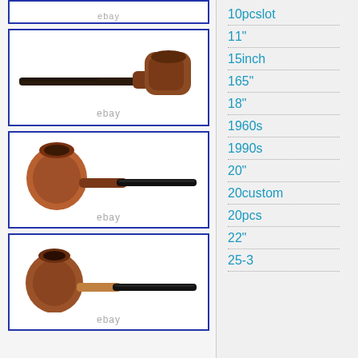[Figure (photo): Partial top of eBay product listing image showing pipe, cropped at top]
[Figure (photo): Smoking pipe shown from side profile - billiard/poker style with brown rusticated bowl and black stem, eBay watermark]
[Figure (photo): Smoking pipe shown from side profile - apple/pot style with brown bowl open at top and dark stem, eBay watermark]
[Figure (photo): Smoking pipe shown from side profile - apple/bulldog style with rusticated brown bowl and mixed tan/black stem, eBay watermark]
10pcslot
11"
15inch
165"
18"
1960s
1990s
20"
20custom
20pcs
22"
25-3